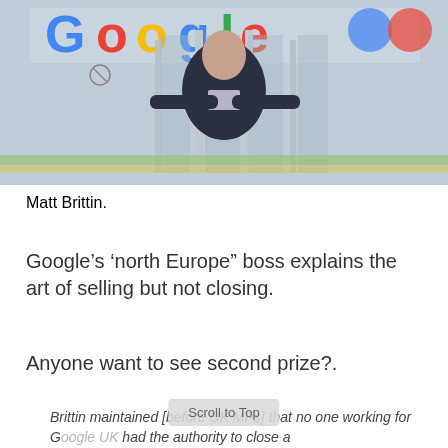[Figure (photo): Man in dark jacket standing in front of Google office entrance holding glass doors open, with colorful Google logo visible behind him]
Matt Brittin.
Google’s ‘north Europe” boss explains the art of selling but not closing.
Anyone want to see second prize?.
Brittin maintained [before UK MPs] that no one working for Google UK had the authority to close a